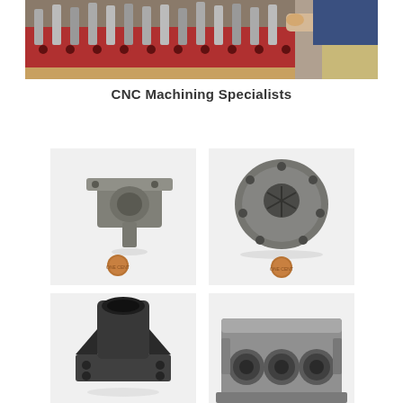[Figure (photo): Workshop photo showing CNC machining tools and toolholders arranged on a red magnetic tool holder board, with a machinist working in the background]
CNC Machining Specialists
[Figure (photo): CNC machined metal housing/bearing block component shown next to a penny for scale, gray metallic finish with mounting holes]
[Figure (photo): CNC machined round metal disc/flange component with central bore and bolt holes, shown next to a penny for scale]
[Figure (photo): CNC machined dark gray/black metal hollow cylindrical housing with square flange base and bolt holes, partially cut off at bottom]
[Figure (photo): CNC machined gray metal block with multiple bored holes, partially cut off at bottom of page]